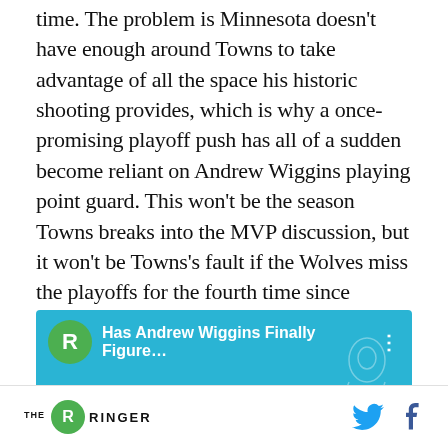time. The problem is Minnesota doesn't have enough around Towns to take advantage of all the space his historic shooting provides, which is why a once-promising playoff push has all of a sudden become reliant on Andrew Wiggins playing point guard. This won't be the season Towns breaks into the MVP discussion, but it won't be Towns's fault if the Wolves miss the playoffs for the fourth time since drafting him first in 2015.
[Figure (screenshot): Video thumbnail for 'Has Andrew Wiggins Finally Figure...' from The Ringer, with teal background showing large watermark text and a line-art illustration of a basketball player]
THE RINGER